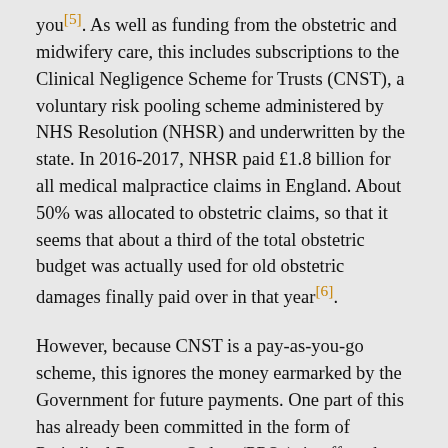you[5]. As well as funding from the obstetric and midwifery care, this includes subscriptions to the Clinical Negligence Scheme for Trusts (CNST), a voluntary risk pooling scheme administered by NHS Resolution (NHSR) and underwritten by the state. In 2016-2017, NHSR paid £1.8 billion for all medical malpractice claims in England. About 50% was allocated to obstetric claims, so that it seems that about a third of the total obstetric budget was actually used for old obstetric damages finally paid over in that year[6].
However, because CNST is a pay-as-you-go scheme, this ignores the money earmarked by the Government for future payments. One part of this has already been committed in the form of Periodical Payment Orders (PPOs), in effect these are inflation proofed pensions agreed as part of the settlement to